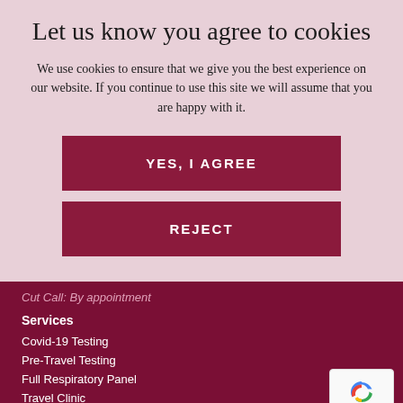Let us know you agree to cookies
We use cookies to ensure that we give you the best experience on our website. If you continue to use this site we will assume that you are happy with it.
YES, I AGREE
REJECT
Cut Call: By appointment
Services
Covid-19 Testing
Pre-Travel Testing
Full Respiratory Panel
Travel Clinic
GP Services